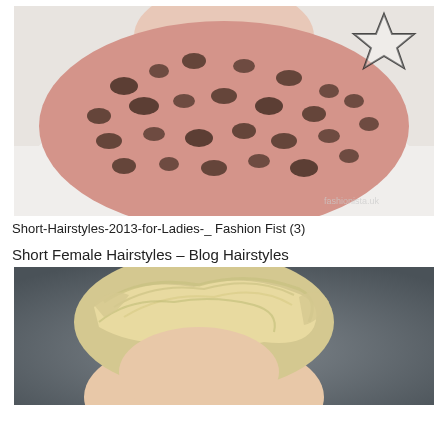[Figure (photo): Close-up photo of a person wearing a pink leopard print scarf/snood around their neck, white top, with a star watermark visible in upper right corner]
Short-Hairstyles-2013-for-Ladies-_ Fashion Fist (3)
Short Female Hairstyles – Blog Hairstyles
[Figure (photo): Photo of a person with short platinum blonde textured pixie hairstyle against a dark grey background]